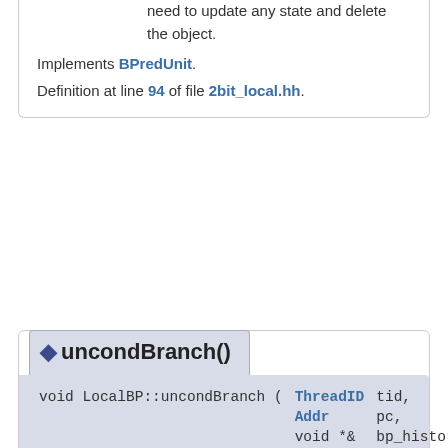need to update any state and delete the object.
Implements BPredUnit.
Definition at line 94 of file 2bit_local.hh.
◆ uncondBranch()
void LocalBP::uncondBranch ( ThreadID tid, Addr pc, void *& bp_history )  [virtual]
Implements BPredUnit.
Definition at line 133 of file 2bit_local.cc.